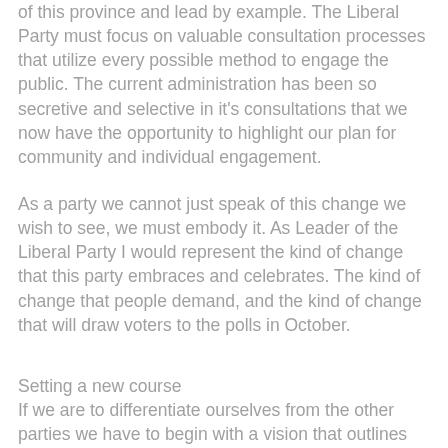of this province and lead by example. The Liberal Party must focus on valuable consultation processes that utilize every possible method to engage the public. The current administration has been so secretive and selective in it's consultations that we now have the opportunity to highlight our plan for community and individual engagement.
As a party we cannot just speak of this change we wish to see, we must embody it. As Leader of the Liberal Party I would represent the kind of change that this party embraces and celebrates. The kind of change that people demand, and the kind of change that will draw voters to the polls in October.
Setting a new course
If we are to differentiate ourselves from the other parties we have to begin with a vision that outlines where a Liberal government would take the